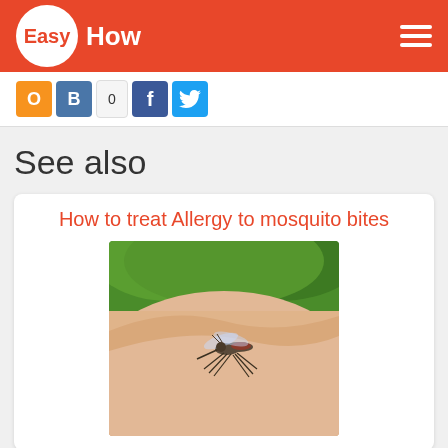Easy How
[Figure (screenshot): Social sharing buttons: Odnoklassniki (orange), VKontakte (blue), count 0, Facebook (blue), Twitter (blue)]
See also
How to treat Allergy to mosquito bites
[Figure (photo): Close-up photo of a mosquito biting human skin, with green background]
How to treat mosquito bites